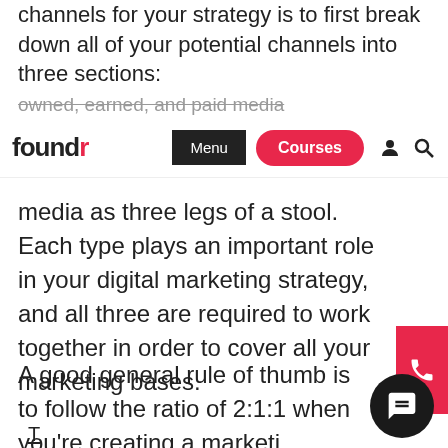channels for your strategy is to first break down all of your potential channels into three sections: owned, earned, and paid media
foundr | Menu | Courses
media as three legs of a stool. Each type plays an important role in your digital marketing strategy, and all three are required to work together in order to cover all your marketing bases.
A good general rule of thumb is to follow the ratio of 2:1:1 when you’re creating a marketing strategy: